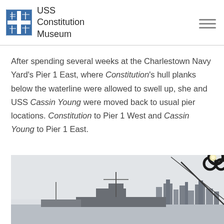USS Constitution Museum
After spending several weeks at the Charlestown Navy Yard's Pier 1 East, where Constitution's hull planks below the waterline were allowed to swell up, she and USS Cassin Young were moved back to usual pier locations. Constitution to Pier 1 West and Cassin Young to Pier 1 East.
[Figure (photo): Photograph of ships at a naval pier with a city skyline in the background, partially framed by a dark chain or rigging in the upper right corner. Overcast sky.]